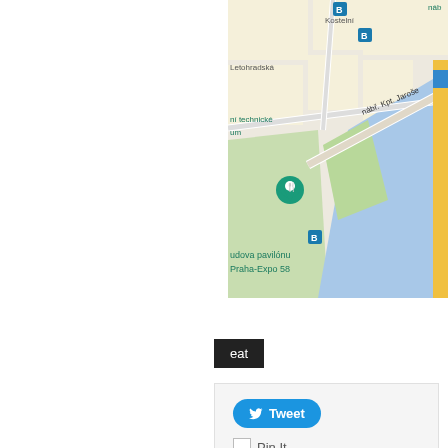[Figure (map): Google Maps screenshot showing area around nábř. Kpt. Jaroše, Prague, with location pin for Budova pavilónu Praha-Expo 58, Kostelní street, Letohradská, nábí technické (museum), river (blue area), and transit icons.]
eat
Tweet
[Figure (other): Pin It button placeholder image]
Like 0
Previous Post
Café Letka
Next Post
Sweet and Pepper DAYS